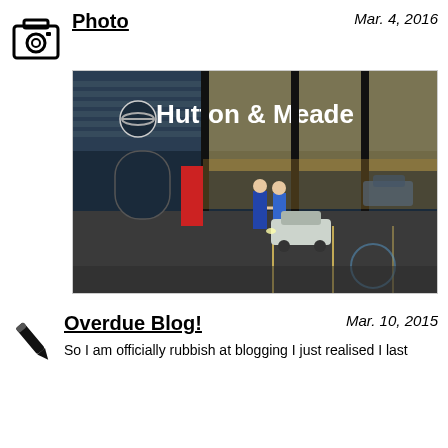Photo
Mar. 4, 2016
[Figure (photo): Exterior nighttime photo of Hutton & Meade car dealership with two people shaking hands in the parking lot in front of a car.]
Overdue Blog!
Mar. 10, 2015
So I am officially rubbish at blogging I just realised I last